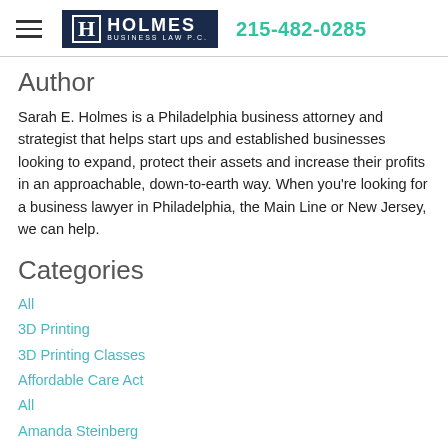Holmes Business Law P.C. | 215-482-0285
Author
Sarah E. Holmes is a Philadelphia business attorney and strategist that helps start ups and established businesses looking to expand, protect their assets and increase their profits in an approachable, down-to-earth way.  When you're looking for a business lawyer in Philadelphia, the Main Line or New Jersey, we can help.
Categories
All
3D Printing
3D Printing Classes
Affordable Care Act
All
Amanda Steinberg
Authenticity